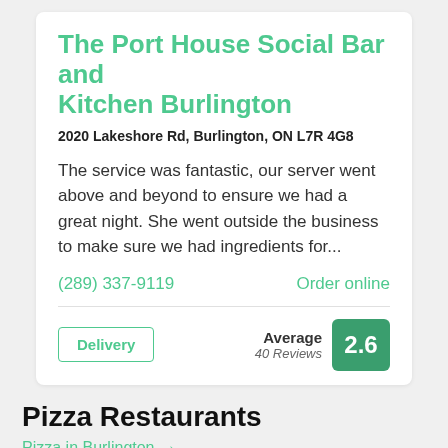The Port House Social Bar and Kitchen Burlington
2020 Lakeshore Rd, Burlington, ON L7R 4G8
The service was fantastic, our server went above and beyond to ensure we had a great night. She went outside the business to make sure we had ingredients for...
(289) 337-9119
Order online
Delivery
Average 40 Reviews 2.6
Pizza Restaurants
Pizza in Burlington →
[Figure (photo): Red background pizza restaurant logo graphic with large orange/red stylized letters spelling PIZZA, with a dark overlay badge reading 'PIZZA • $']